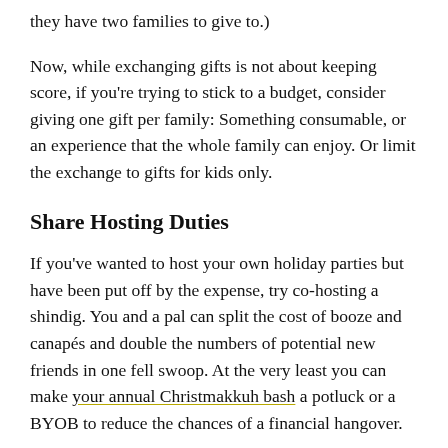they have two families to give to.)
Now, while exchanging gifts is not about keeping score, if you're trying to stick to a budget, consider giving one gift per family: Something consumable, or an experience that the whole family can enjoy. Or limit the exchange to gifts for kids only.
Share Hosting Duties
If you've wanted to host your own holiday parties but have been put off by the expense, try co-hosting a shindig. You and a pal can split the cost of booze and canapés and double the numbers of potential new friends in one fell swoop. At the very least you can make your annual Christmakkuh bash a potluck or a BYOB to reduce the chances of a financial hangover.
Chip in Equitably, Not Evenly